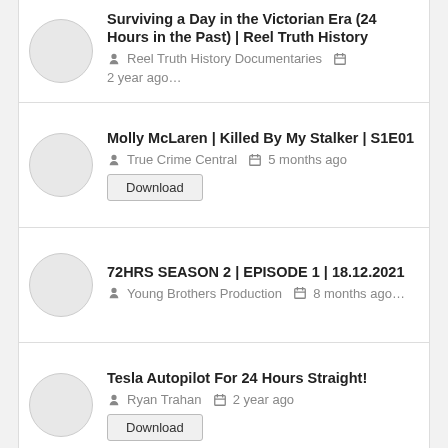Surviving a Day in the Victorian Era (24 Hours in the Past) | Reel Truth History — Reel Truth History Documentaries — 2 year ago…
Molly McLaren | Killed By My Stalker | S1E01 — True Crime Central — 5 months ago — Download
72HRS SEASON 2 | EPISODE 1 | 18.12.2021 — Young Brothers Production — 8 months ago…
Tesla Autopilot For 24 Hours Straight! — Ryan Trahan — 2 year ago — Download
Recent Search